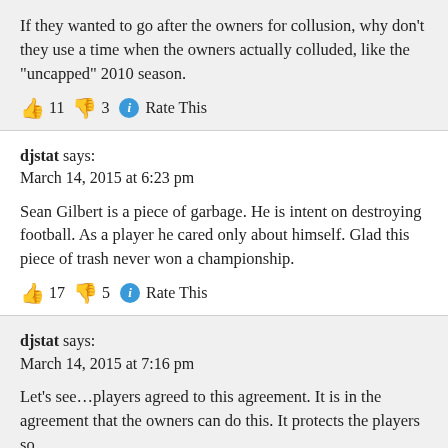If they wanted to go after the owners for collusion, why don't they use a time when the owners actually colluded, like the “uncapped” 2010 season.
👍 11 👎 3 ℹ Rate This
djstat says:
March 14, 2015 at 6:23 pm
Sean Gilbert is a piece of garbage. He is intent on destroying football. As a player he cared only about himself. Glad this piece of trash never won a championship.
👍 17 👎 5 ℹ Rate This
djstat says:
March 14, 2015 at 7:16 pm
Let’s see…players agreed to this agreement. It is in the agreement that the owners can do this. It protects the players so